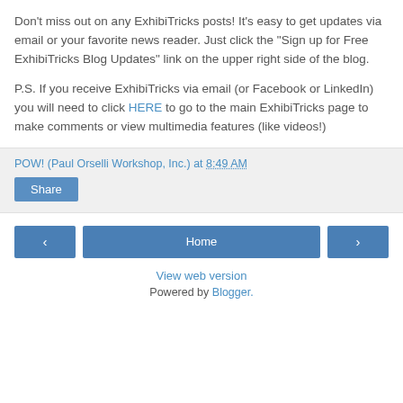Don't miss out on any ExhibiTricks posts! It's easy to get updates via email or your favorite news reader. Just click the "Sign up for Free ExhibiTricks Blog Updates" link on the upper right side of the blog.
P.S. If you receive ExhibiTricks via email (or Facebook or LinkedIn) you will need to click HERE to go to the main ExhibiTricks page to make comments or view multimedia features (like videos!)
POW! (Paul Orselli Workshop, Inc.) at 8:49 AM
Share
Home
View web version
Powered by Blogger.